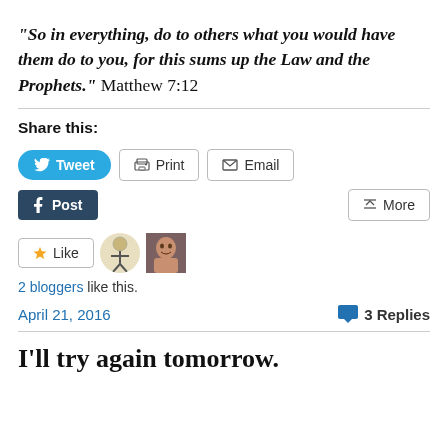“So in everything, do to others what you would have them do to you, for this sums up the Law and the Prophets.” Matthew 7:12
Share this:
[Figure (screenshot): Social sharing buttons: Tweet, Print, Email, Post (Tumblr), More]
[Figure (screenshot): Like button with two blogger avatars]
2 bloggers like this.
April 21, 2016   3 Replies
I’ll try again tomorrow.